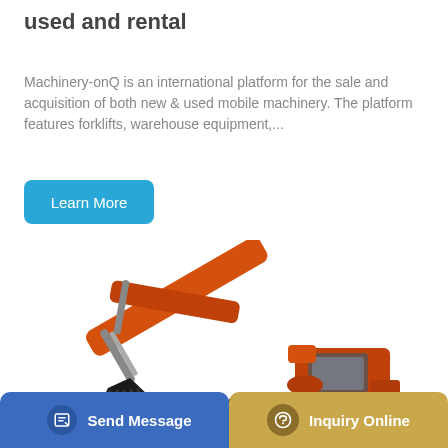used and rental
Machinery-onQ is an international platform for the sale and acquisition of both new & used mobile machinery. The platform features forklifts, warehouse equipment,...
[Figure (illustration): Blue button labeled 'Learn More' with rounded corners on white background]
[Figure (photo): Orange Doosan excavator on white background, side profile showing arm, bucket, cab, and tracks]
[Figure (infographic): Bottom bar with two buttons: blue 'Send Message' with document icon on left, gold/tan 'Inquiry Online' with headset icon on right]